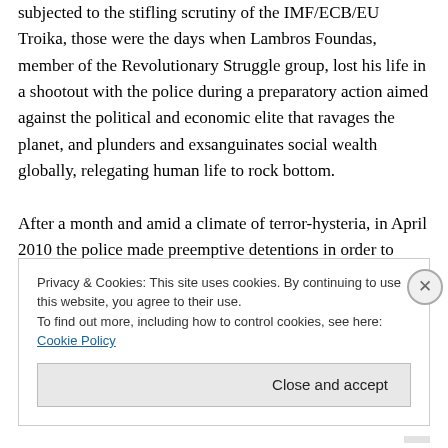subjected to the stifling scrutiny of the IMF/ECB/EU Troika, those were the days when Lambros Foundas, member of the Revolutionary Struggle group, lost his life in a shootout with the police during a preparatory action aimed against the political and economic elite that ravages the planet, and plunders and exsanguinates social wealth globally, relegating human life to rock bottom.

After a month and amid a climate of terror-hysteria, in April 2010 the police made preemptive detentions in order to dismantle the Revolutionary Struggle group, and also arrested and imprisoned anarchist Kostas Gournas
Privacy & Cookies: This site uses cookies. By continuing to use this website, you agree to their use.
To find out more, including how to control cookies, see here: Cookie Policy
Close and accept